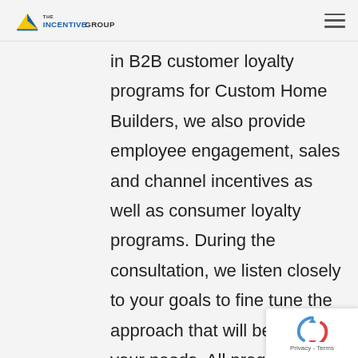The Incentive Group
in B2B customer loyalty programs for Custom Home Builders, we also provide employee engagement, sales and channel incentives as well as consumer loyalty programs. During the consultation, we listen closely to your goals to fine tune the approach that will best suit your needs. All program types